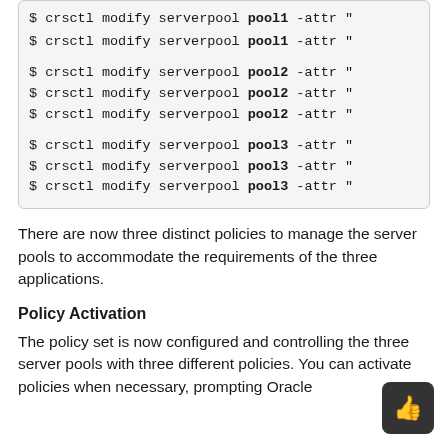[Figure (screenshot): Code block showing crsctl modify serverpool commands for pool1, pool2, and pool3 with -attr options]
There are now three distinct policies to manage the server pools to accommodate the requirements of the three applications.
Policy Activation
The policy set is now configured and controlling the three server pools with three different policies. You can activate policies when necessary, prompting Oracle